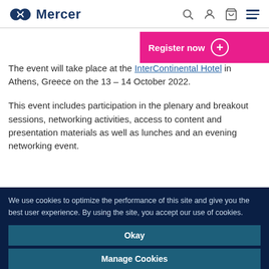Mercer
[Figure (logo): Mercer logo with stylized infinity/wave icon and Mercer wordmark in dark navy blue]
Register now
The event will take place at the InterContinental Hotel in Athens, Greece on the 13 – 14 October 2022.
This event includes participation in the plenary and breakout sessions, networking activities, access to content and presentation materials as well as lunches and an evening networking event.
We use cookies to optimize the performance of this site and give you the best user experience. By using the site, you accept our use of cookies.
Okay
Manage Cookies